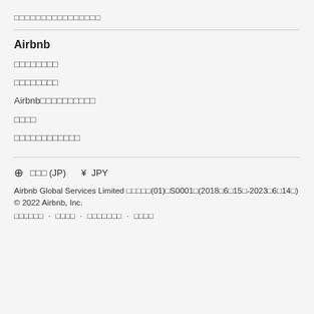□□□□□□□□□□□□□□□□
Airbnb
□□□□□□□□
□□□□□□□□
Airbnb□□□□□□□□□□
□□□□
□□□□□□□□□□□□
⊕ □□□ (JP)   ¥ JPY
Airbnb Global Services Limited □□□□□(01)□S0001□(2018□6□15□-2023□6□14□)
© 2022 Airbnb, Inc.
□□□□□□ · □□□□ · □□□□□□□ · □□□□